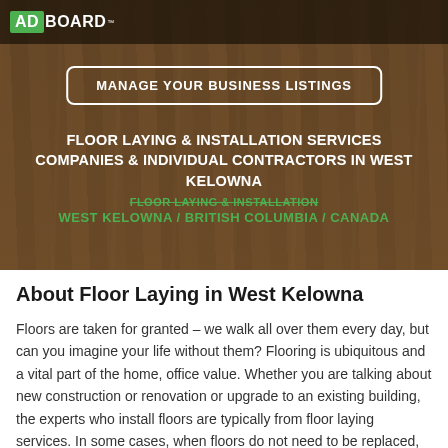[Figure (screenshot): AdBoard logo in top navigation bar over wood floor background hero image]
MANAGE YOUR BUSINESS LISTINGS
FLOOR LAYING & INSTALLATION SERVICES COMPANIES & INDIVIDUAL CONTRACTORS IN WEST KELOWNA
FLOOR LAYING & INSTALLATION
WEST KELOWNA / BRITISH COLUMBIA / CANADA
About Floor Laying in West Kelowna
Floors are taken for granted – we walk all over them every day, but can you imagine your life without them? Flooring is ubiquitous and a vital part of the home, office value. Whether you are talking about new construction or renovation or upgrade to an existing building, the experts who install floors are typically from floor laying services. In some cases, when floors do not need to be replaced, but refinished merely or